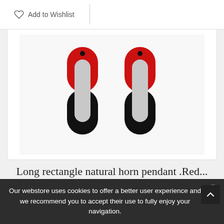Add to Wishlist
[Figure (photo): Two oval/rectangle loop pendants made of natural horn, top half red and bottom half black, photographed on white background]
Long rectangle natural horn pendant .Red...
Our webstore uses cookies to offer a better user experience and we recommend you to accept their use to fully enjoy your navigation.